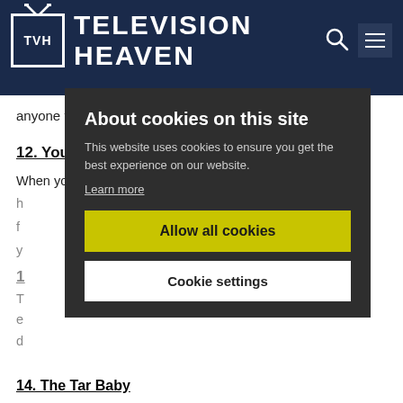Television Heaven
anyone to play?
12. You Scratch My Back, I'll Scratch Yours
When your girlfriend wants you to pose as the fiancé of
[Figure (screenshot): Cookie consent modal overlay with dark background. Title: 'About cookies on this site'. Body text: 'This website uses cookies to ensure you get the best experience on our website.' Link: 'Learn more'. Button: 'Allow all cookies' (yellow). Button: 'Cookie settings' (white).]
14. The Tar Baby